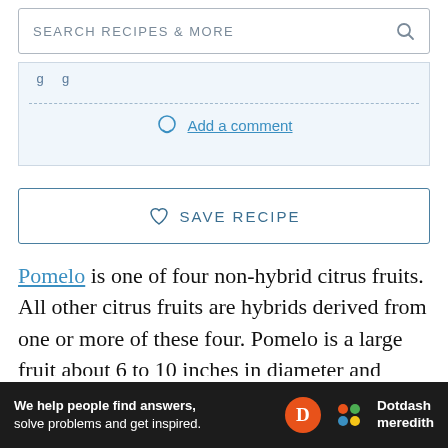SEARCH RECIPES & MORE
Add a comment
SAVE RECIPE
Pomelo is one of four non-hybrid citrus fruits. All other citrus fruits are hybrids derived from one or more of these four. Pomelo is a large fruit about 6 to 10 inches in diameter and weighs anywhere from one to two kilograms. The edible segments, however, are small relative to the size of the fruit. The bitter rind is thick and inedible.
[Figure (infographic): Dotdash Meredith advertisement banner: 'We help people find answers, solve problems and get inspired.' with D logo and colorful dots logo.]